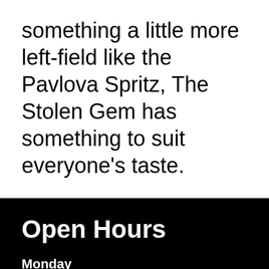something a little more left-field like the Pavlova Spritz, The Stolen Gem has something to suit everyone’s taste.
Open Hours
Monday
Closed
Tuesday
Closed
Wednesday
4:00 pm – 10:00 pm